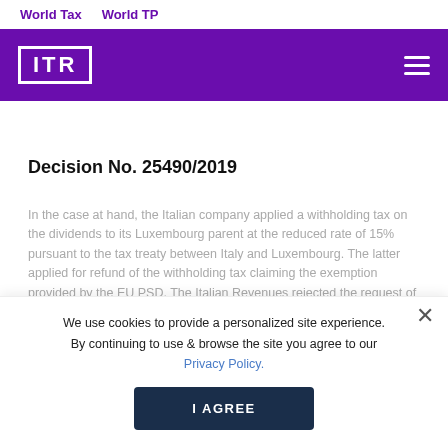World Tax    World TP
[Figure (logo): ITR logo in white on purple background with hamburger menu icon]
Decision No. 25490/2019
In the case at hand, the Italian company applied a withholding tax on the dividends to its Luxembourg parent at the reduced rate of 15% pursuant to the tax treaty between Italy and Luxembourg. The latter applied for refund of the withholding tax claiming the exemption provided by the EU PSD. The Italian Revenues rejected the request of a refund and assessed the full 27% withholding tax rate provided for
We use cookies to provide a personalized site experience. By continuing to use & browse the site you agree to our Privacy Policy.
I AGREE